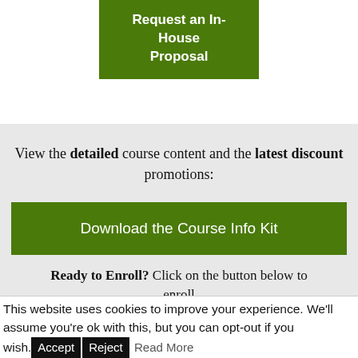[Figure (other): Green button labeled 'Request an In-House Proposal']
View the detailed course content and the latest discount promotions:
[Figure (other): Green button labeled 'Download the Course Info Kit']
Ready to Enroll? Click on the button below to enroll
This website uses cookies to improve your experience. We'll assume you're ok with this, but you can opt-out if you wish. Accept Reject Read More